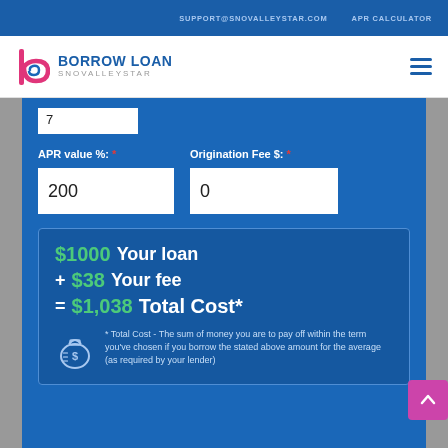SUPPORT@SNOVALLEYSTAR.COM  APR CALCULATOR
[Figure (logo): Borrow Loan SnoValleyStar logo with stylized pink/magenta letter b and circular swirl icon]
BORROW LOAN SNOVALLEYSTAR
APR value %: * [200]   Origination Fee $: * [0]
$1000 Your loan
+ $38 Your fee
= $1,038 Total Cost*
* Total Cost - The sum of money you are to pay off within the term you've chosen if you borrow the stated above amount for the average (as required by your lender)